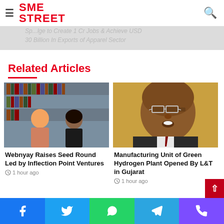SME STREET
[Figure (photo): Banner image showing italic text about apparel sector and SME Street logo navigation bar]
Related Articles
[Figure (photo): Two young people (man and woman) in a library with bookshelves behind them]
Webnyay Raises Seed Round Led by Inflection Point Ventures
1 hour ago
[Figure (photo): Indian businessman in suit and glasses speaking, against a yellow background]
Manufacturing Unit of Green Hydrogen Plant Opened By L&T in Gujarat
1 hour ago
Facebook Twitter WhatsApp Telegram Phone social share buttons